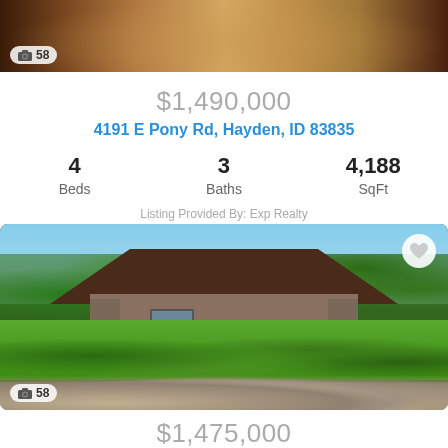[Figure (photo): Interior photo of a home showing a living room with a round ornate table, fireplace, and hardwood floors]
58
$1,490,000
4191 E Pony Rd, Hayden, ID 83835
| Beds | Baths | SqFt |
| --- | --- | --- |
| 4 | 3 | 4,188 |
Listing Provided By: Exp Realty
[Figure (photo): Exterior photo of a craftsman-style home with stone accents, brown roof, blue sky, lush green lawn, shrubs and rocks in foreground]
58
$1,475,000